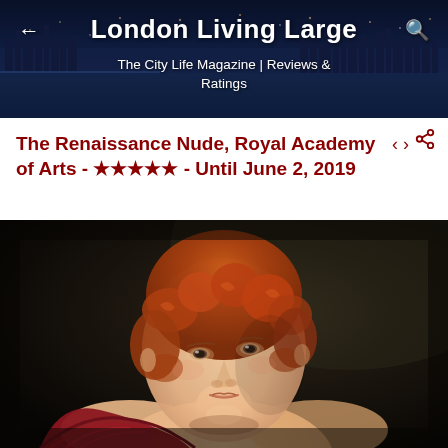London Living Large
The City Life Magazine | Reviews & Ratings
The Renaissance Nude, Royal Academy of Arts - ★★★★★ - Until June 2, 2019
[Figure (photo): Renaissance-style painting of a young figure with curly red/auburn hair, bare shoulders, draped in a red garment, looking upward, against a dark background.]